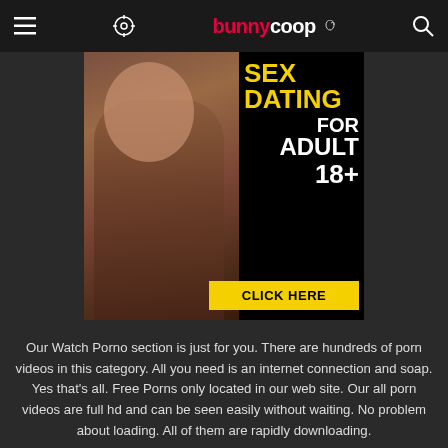bunnycoop.com
[Figure (photo): Advertisement banner: SEX DATING FOR ADULT 18+ CLICK HERE with photo background]
Our Watch Porno section is just for you. There are hundreds of porn videos in this category. All you need is an internet connection and soap. Yes that's all. Free Porns only located in our web site. Our all porn videos are full hd and can be seen easily without waiting. No problem about loading. All of them are rapidly downloading.